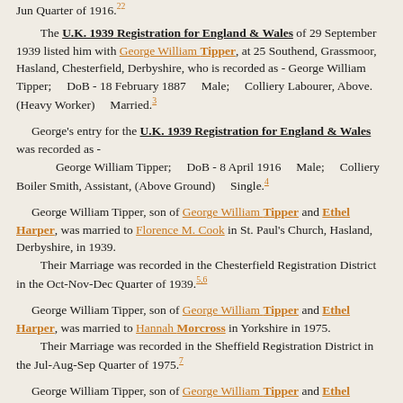Jun Quarter of 1916.
The U.K. 1939 Registration for England & Wales of 29 September 1939 listed him with George William Tipper, at 25 Southend, Grassmoor, Hasland, Chesterfield, Derbyshire, who is recorded as - George William Tipper;    DoB - 18 February 1887    Male;    Colliery Labourer, Above. (Heavy Worker)    Married.3
George's entry for the U.K. 1939 Registration for England & Wales was recorded as -
        George William Tipper;    DoB - 8 April 1916    Male;    Colliery Boiler Smith, Assistant, (Above Ground)    Single.4
George William Tipper, son of George William Tipper and Ethel Harper, was married to Florence M. Cook in St. Paul's Church, Hasland, Derbyshire, in 1939.
    Their Marriage was recorded in the Chesterfield Registration District in the Oct-Nov-Dec Quarter of 1939.5,6
George William Tipper, son of George William Tipper and Ethel Harper, was married to Hannah Morcross in Yorkshire in 1975.
    Their Marriage was recorded in the Sheffield Registration District in the Jul-Aug-Sep Quarter of 1975.7
George William Tipper, son of George William Tipper and Ethel